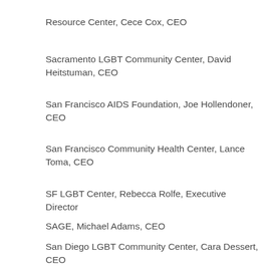Resource Center, Cece Cox, CEO
Sacramento LGBT Community Center, David Heitstuman, CEO
San Francisco AIDS Foundation, Joe Hollendoner, CEO
San Francisco Community Health Center, Lance Toma, CEO
SF LGBT Center, Rebecca Rolfe, Executive Director
SAGE, Michael Adams, CEO
San Diego LGBT Community Center, Cara Dessert, CEO
Sero Project, Sean Strub, Executive Director